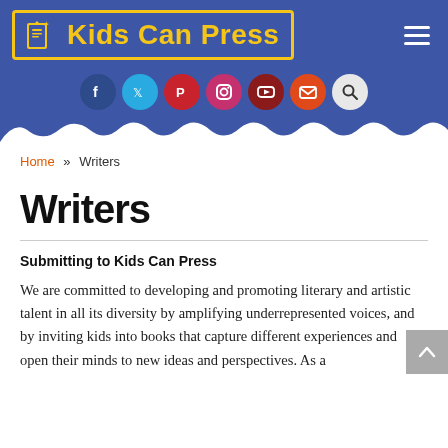[Figure (logo): Kids Can Press logo with yellow text on blue background with yellow border, book icon on left]
[Figure (infographic): Row of social media icons: Facebook (dark blue circle), Twitter (light blue circle), Pinterest (red circle), Instagram (pink circle), YouTube (dark red circle), Email (orange-red circle), Search (white circle with magnifying glass)]
Home » Writers
Writers
Submitting to Kids Can Press
We are committed to developing and promoting literary and artistic talent in all its diversity by amplifying underrepresented voices, and by inviting kids into books that capture different experiences and open their minds to new ideas and perspectives. As a